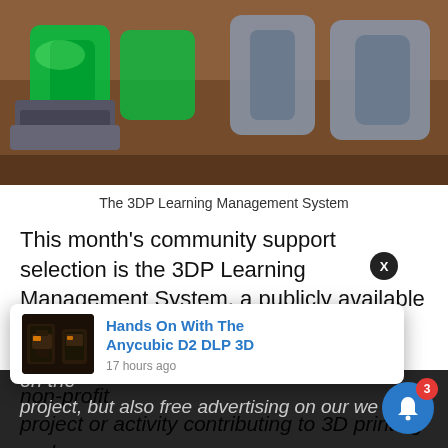[Figure (photo): 3D printed letters spelling '3DP' — one set in bright green translucent filament, another in grey/blue filament, arranged on a wooden surface]
The 3DP Learning Management System
This month's community support selection is the 3DP Learning Management System, a publicly available set of training courses for 3D printing.
Each month Fabbaloo selects a worthy non-profit project or activity contributing to 3D printing and [on the] project, but also free advertising on our we[bsite]
[Figure (screenshot): Notification popup overlay showing 'Hands On With The Anycubic D2 DLP 3D' article thumbnail and timestamp '17 hours ago', with an X close button and a blue notification bell with badge count 3]